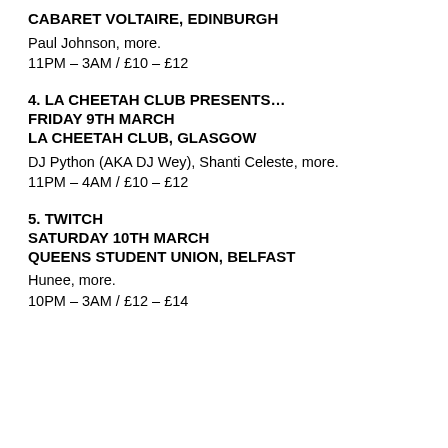CABARET VOLTAIRE, EDINBURGH
Paul Johnson, more.
11PM – 3AM / £10 – £12
4. LA CHEETAH CLUB PRESENTS…
FRIDAY 9TH MARCH
LA CHEETAH CLUB, GLASGOW
DJ Python (AKA DJ Wey), Shanti Celeste, more.
11PM – 4AM / £10 – £12
5. TWITCH
SATURDAY 10TH MARCH
QUEENS STUDENT UNION, BELFAST
Hunee, more.
10PM – 3AM / £12 – £14